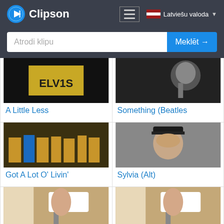Clipson  ≡  Latviešu valoda
Atrodi klipu  Meklēt →
[Figure (screenshot): Thumbnail for 'A Little Less' - dark background with ELVIS text]
A Little Less
[Figure (screenshot): Thumbnail for 'Something (Beatles' - dark concert photo]
Something (Beatles
[Figure (screenshot): Thumbnail for 'Got A Lot O' Livin'' - group of performers on stage]
Got A Lot O' Livin'
[Figure (screenshot): Thumbnail for 'Sylvia (Alt)' - man in military cap]
Sylvia (Alt)
[Figure (screenshot): Thumbnail for 'Aura Lee ( Love Me' - girl playing keyboard]
Aura Lee ( Love Me
[Figure (screenshot): Thumbnail for 'Aura Lee ( Love Me' - girl playing keyboard]
Aura Lee ( Love Me